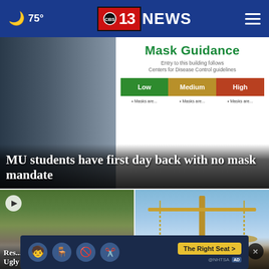🌙 75° — CBS 13 NEWS
[Figure (photo): Main news story image showing a mask guidance sign with Low/Medium/High levels and a doorway on the left side]
MU students have first day back with no mask mandate
[Figure (photo): Left bottom story: video thumbnail of a park scene with erosion/construction]
Res... Ugly abo...
[Figure (photo): Right bottom story: scales of justice illustration on blue background]
...nt ...oom
[Figure (infographic): NHTSA ad banner: The Right Seat > with child seat safety icons]